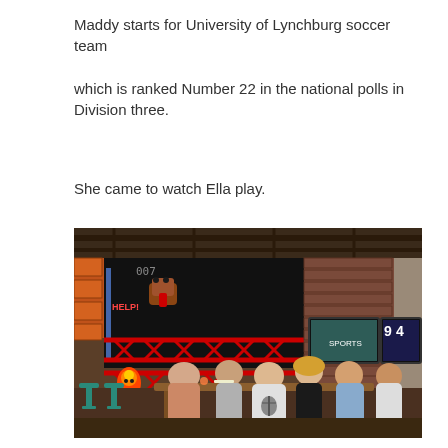Maddy starts for University of Lynchburg soccer team
which is ranked Number 22 in the national polls in Division three.
She came to watch Ella play.
[Figure (photo): Group of people sitting and standing around a wooden high-top table in a bar/restaurant with Donkey Kong mural on the wall, TVs showing sports in the background, and hanging Edison bulb chandelier.]